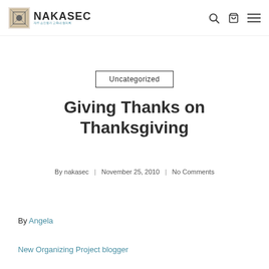NAKASEC 재주소인동카교육네협의회
Uncategorized
Giving Thanks on Thanksgiving
By nakasec | November 25, 2010 | No Comments
By Angela
New Organizing Project blogger